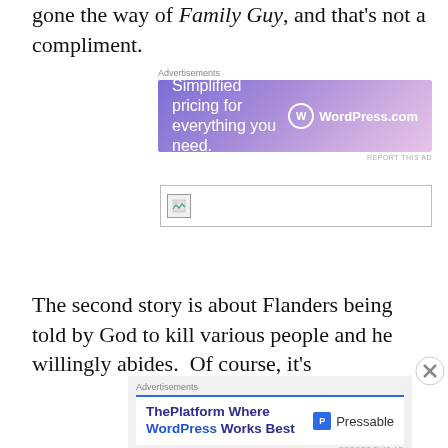gone the way of Family Guy, and that's not a compliment.
[Figure (other): WordPress.com advertisement banner: 'Simplified pricing for everything you need.']
[Figure (other): Broken image placeholder box]
The second story is about Flanders being told by God to kill various people and he willingly abides.  Of course, it's
[Figure (other): Pressable/WordPress advertisement: 'ThePlatform Where WordPress Works Best']